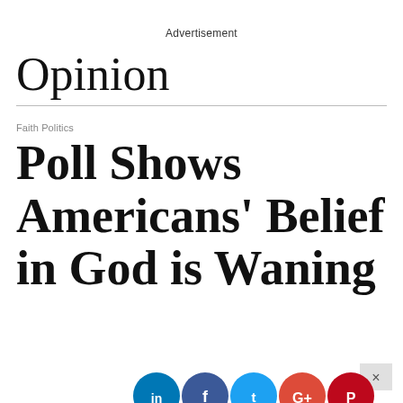Advertisement
Opinion
Faith Politics
Poll Shows Americans' Belief in God is Waning
[Figure (other): Social sharing icons (Facebook, Twitter, Google+, Pinterest, LinkedIn, more) partially visible at bottom of page, with a close/dismiss button (×)]